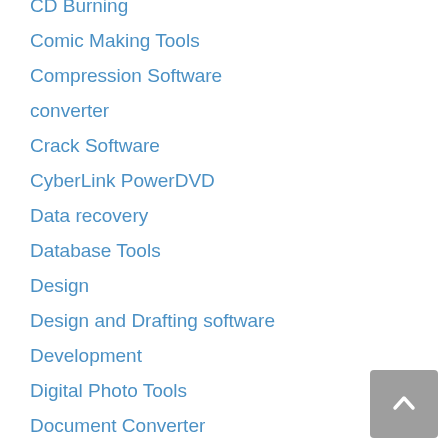CD Burning
Comic Making Tools
Compression Software
converter
Crack Software
CyberLink PowerDVD
Data recovery
Database Tools
Design
Design and Drafting software
Development
Digital Photo Tools
Document Converter
download manager